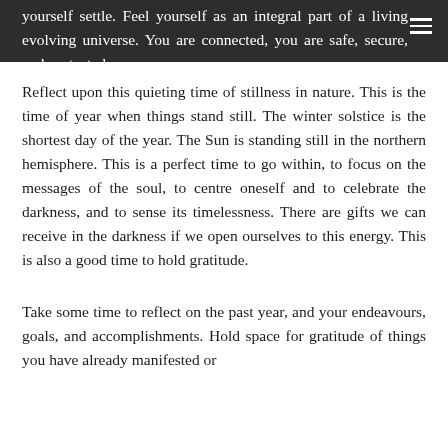yourself settle. Feel yourself as an integral part of a living evolving universe. You are connected, you are safe, secure, and protected.
Reflect upon this quieting time of stillness in nature. This is the time of year when things stand still. The winter solstice is the shortest day of the year. The Sun is standing still in the northern hemisphere. This is a perfect time to go within, to focus on the messages of the soul, to centre oneself and to celebrate the darkness, and to sense its timelessness. There are gifts we can receive in the darkness if we open ourselves to this energy. This is also a good time to hold gratitude.
Take some time to reflect on the past year, and your endeavours, goals, and accomplishments. Hold space for gratitude of things you have already manifested or...